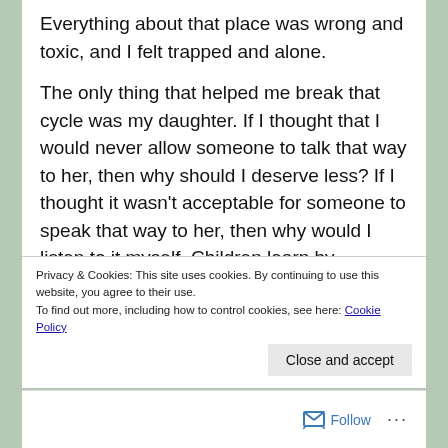Everything about that place was wrong and toxic, and I felt trapped and alone.

The only thing that helped me break that cycle was my daughter. If I thought that I would never allow someone to talk that way to her, then why should I deserve less? If I thought it wasn't acceptable for someone to speak that way to her, then why would I listen to it myself. Children learn by watching us. If I let someone treat me badly without stepping up, then my daughter would eventually learn to do the same. By allowing that kind of behaviour, I was telling myself and others that it was OK to treat
Privacy & Cookies: This site uses cookies. By continuing to use this website, you agree to their use.
To find out more, including how to control cookies, see here: Cookie Policy
Follow